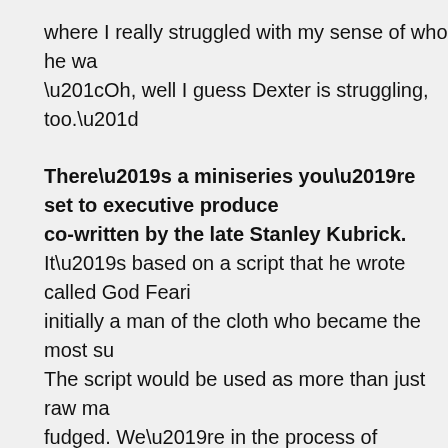where I really struggled with my sense of who he wa… “Oh, well I guess Dexter is struggling, too.”
There’s a miniseries you’re set to executive produce… co-written by the late Stanley Kubrick.
It’s based on a script that he wrote called God Feari… initially a man of the cloth who became the most su… The script would be used as more than just raw ma… fudged. We’re in the process of figuring out who mi… and it’s in its early stages. I’m not positive that it wo… but I’m interested in playing it. When I start talking a… feel like I’m talking about Dexter sometimes.
Do you feel liberated now that you’re no longer tethe…